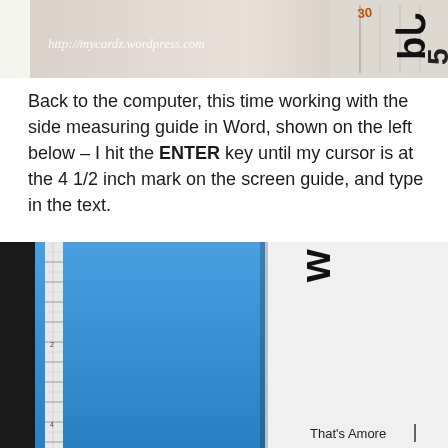[Figure (photo): Top photo showing a ruler/measuring guide with numbers 30 and 5 visible, with watermark text 'http://mycardz.wordpress.com' overlaid in italic style]
Back to the computer, this time working with the side measuring guide in Word, shown on the left below – I hit the ENTER key until my cursor is at the 4 1/2 inch mark on the screen guide, and type in the text.
[Figure (photo): Bottom photo showing a computer screen with a blue Word document interface. On the left is a vertical ruler/measuring guide against a dark background. On the right is a white document page with the text 'w' visible rotated at the top and 'That's Amore' with a cursor visible near the bottom.]